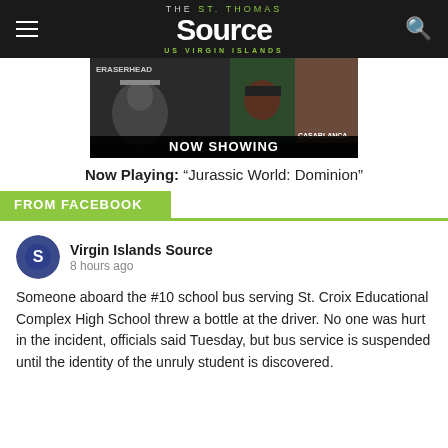THE St. Thomas Source US VIRGIN ISLANDS
[Figure (photo): Movie poster collage showing Eraserhead, Amélie, Casablanca with NOW SHOWING banner]
Now Playing: “Jurassic World: Dominion”
FROM FACEBOOK
Virgin Islands Source
8 hours ago

Someone aboard the #10 school bus serving St. Croix Educational Complex High School threw a bottle at the driver. No one was hurt in the incident, officials said Tuesday, but bus service is suspended until the identity of the unruly student is discovered.